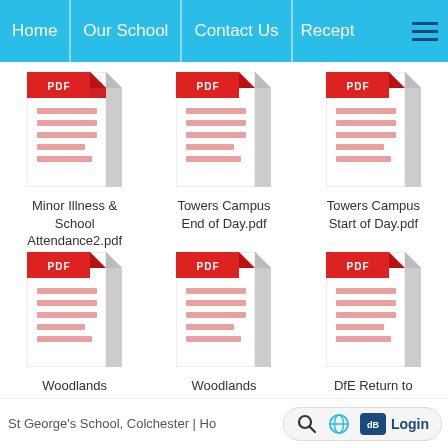Home | Our School | Contact Us | Recept
[Figure (illustration): PDF file icon for Minor Illness & School Attendance2.pdf]
Minor Illness & School Attendance2.pdf
[Figure (illustration): PDF file icon for Towers Campus End of Day.pdf]
Towers Campus End of Day.pdf
[Figure (illustration): PDF file icon for Towers Campus Start of Day.pdf]
Towers Campus Start of Day.pdf
[Figure (illustration): PDF file icon for Woodlands Campus End of Day.pdf]
Woodlands Campus End of Day.pdf
[Figure (illustration): PDF file icon for Woodlands Campus Start of Day.pdf]
Woodlands Campus Start of Day.pdf
[Figure (illustration): PDF file icon for DfE Return to Education Leaflet for Primary Schools Autumn 2021.pdf]
DfE Return to Education Leaflet for Primary Schools Autumn 2021.pdf
St George's School, Colchester | Ho